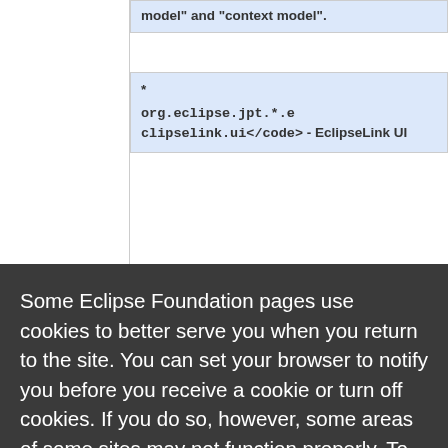|  | model" and "context model". |
|  | * <code>org.eclipse.jpt.*.eclipselink.ui</code> - EclipseLink UI |
Some Eclipse Foundation pages use cookies to better serve you when you return to the site. You can set your browser to notify you before you receive a cookie or turn off cookies. If you do so, however, some areas of some sites may not function properly. To read Eclipse Foundation Privacy Policy click here.
Decline
Allow cookies
|  | test suites for the utility |